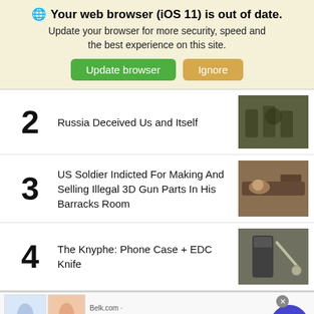Your web browser (iOS 11) is out of date. Update your browser for more security, speed and the best experience on this site. [Update browser] [Ignore]
2  Russia Deceived Us and Itself
3  US Soldier Indicted For Making And Selling Illegal 3D Gun Parts In His Barracks Room
4  The Knyphe: Phone Case + EDC Knife
Belk.com - Belk® - Official Site  Up To 75% Mens & Womens Shorts, Alts, Skirts & Swim  www.belk.com